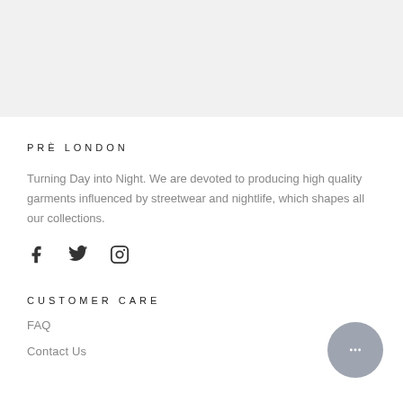[Figure (other): Gray background banner area at top of page]
PRÈ LONDON
Turning Day into Night. We are devoted to producing high quality garments influenced by streetwear and nightlife, which shapes all our collections.
[Figure (other): Social media icons: Facebook, Twitter, Instagram]
CUSTOMER CARE
FAQ
Contact Us
[Figure (other): Chat bubble button with ellipsis icon in bottom right corner]